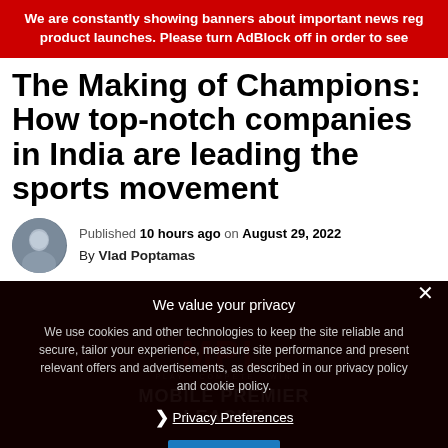We are constantly showing banners about important news reg product launches. Please turn AdBlock off in order to see
The Making of Champions: How top-notch companies in India are leading the sports movement
Published 10 hours ago on August 29, 2022
By Vlad Poptamas
[Figure (screenshot): Dark background section with MPL (Mobile Premier League) logo visible behind a privacy consent modal overlay. The modal says 'We value your privacy' and contains cookie consent text with Privacy Preferences link and I Agree button.]
We value your privacy
We use cookies and other technologies to keep the site reliable and secure, tailor your experience, measure site performance and present relevant offers and advertisements, as described in our privacy policy and cookie policy.
❯ Privacy Preferences
I Agree